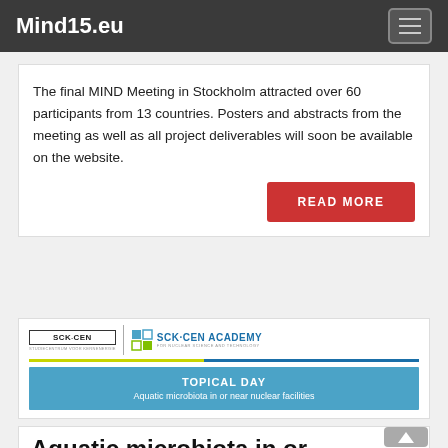Mind15.eu
The final MIND Meeting in Stockholm attracted over 60 participants from 13 countries. Posters and abstracts from the meeting as well as all project deliverables will soon be available on the website.
READ MORE
[Figure (logo): SCK·CEN Academy logo with colored accent bar and blue topical day banner: TOPICAL DAY - Aquatic microbiota in or near nuclear facilities]
Aquatic microbiota in or near facilities